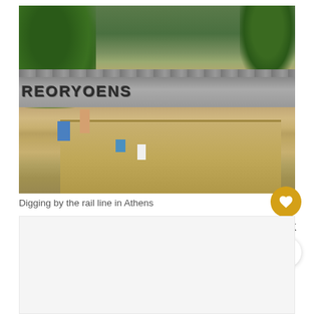[Figure (photo): Archaeological excavation site near a rail line in Athens. Workers are digging in a sandy excavation pit. Behind them is a stone wall with graffiti reading 'REORYOENS' or similar text. Trees are visible on both sides and in the background.]
Digging by the rail line in Athens
[Figure (photo): Second image placeholder, appears blank/light gray]